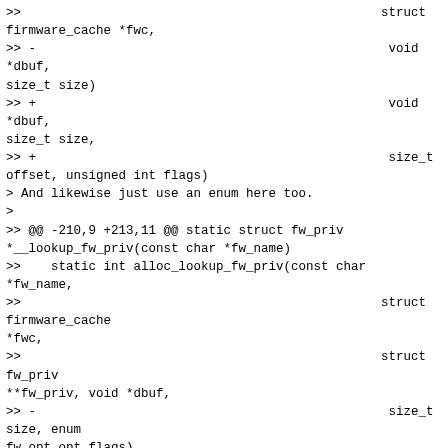>>                                                struct firmware_cache *fwc,
>> -                                               void *dbuf, size_t size)
>> +                                               void *dbuf, size_t size,
>> +                                               size_t offset, unsigned int flags)
> And likewise just use an enum here too.
>
>> @@ -210,9 +213,11 @@ static struct fw_priv *__lookup_fw_priv(const char *fw_name)
>>    static int alloc_lookup_fw_priv(const char *fw_name,
>>                                                struct firmware_cache *fwc,
>>                                                struct fw_priv **fw_priv, void *dbuf,
>> -                                               size_t size, enum fw_opt opt_flags)
>> +                                               size_t size, enum fw_opt opt_flags,
>> +                                               size_t offset)
> flags? But its a single variable enum!
fw_opt is an existing enum which doesn't really act like an enum.
It is a series of BIT defines in an enum that are then OR'd together in
the (existing) code?
>